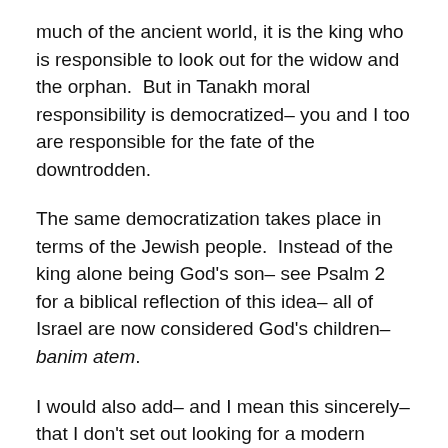much of the ancient world, it is the king who is responsible to look out for the widow and the orphan.  But in Tanakh moral responsibility is democratized– you and I too are responsible for the fate of the downtrodden.
The same democratization takes place in terms of the Jewish people.  Instead of the king alone being God's son– see Psalm 2 for a biblical reflection of this idea– all of Israel are now considered God's children– banim atem.
I would also add– and I mean this sincerely– that I don't set out looking for a modern ethical reading.  I set out to read, to learn, to struggle with the text.  Very often, that process leads me to, and leaves me with, a modern ethical challenge.  But that's not because I care about ethics but because Torah does.  Now, I am not naive– I realize that we bring who we are and what we care about